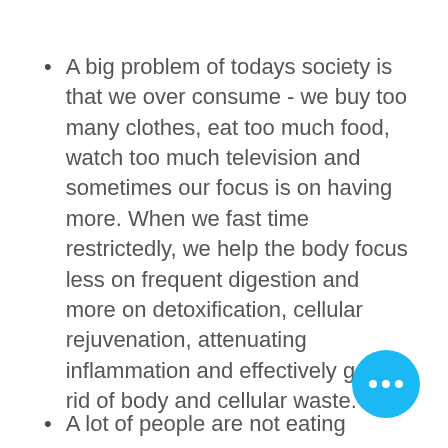A big problem of todays society is that we over consume - we buy too many clothes, eat too much food, watch too much television and sometimes our focus is on having more. When we fast time restrictedly, we help the body focus less on frequent digestion and more on detoxification, cellular rejuvenation, attenuating inflammation and effectively getting rid of body and cellular waste.
A lot of people are not eating...